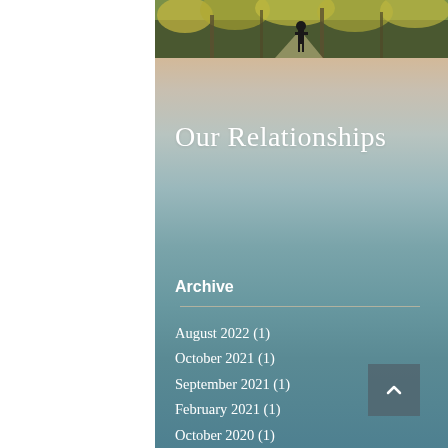[Figure (photo): A person walking on a forest/nature path with yellow-green foliage, cropped at the top of the page]
Our Relationships
Archive
August 2022 (1)
October 2021 (1)
September 2021 (1)
February 2021 (1)
October 2020 (1)
April 2020 (1)
August 2019 (1)
June 2019 (1)
December 2018 (1)